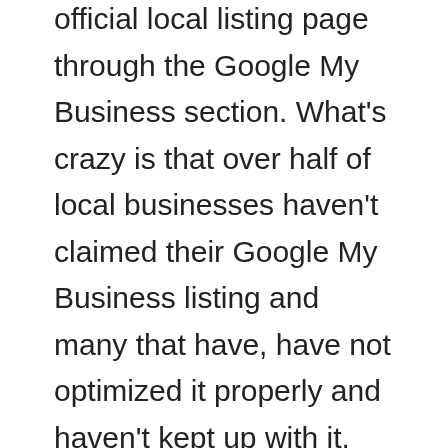official local listing page through the Google My Business section. What's crazy is that over half of local businesses haven't claimed their Google My Business listing and many that have, have not optimized it properly and haven't kept up with it.
When your Google My Business listing is properly optimized and managed, it helps your business show up in the Google Map Pack area of local searches. This will drive TONS of